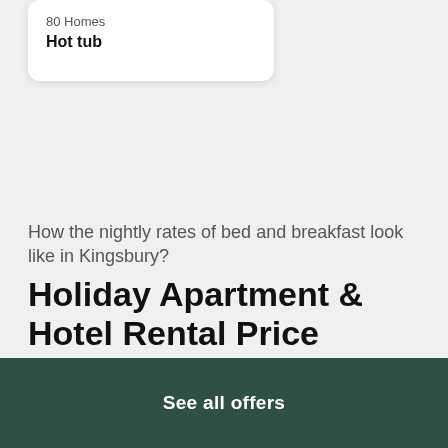80 Homes
Hot tub
How the nightly rates of bed and breakfast look like in Kingsbury?
Holiday Apartment & Hotel Rental Price Information in Kingsbury
The graph below displays the number of homes in each price bucket in Kingsbury. According to the chart most homes (24.71%) are charging £50 – £100 per night.
See all offers